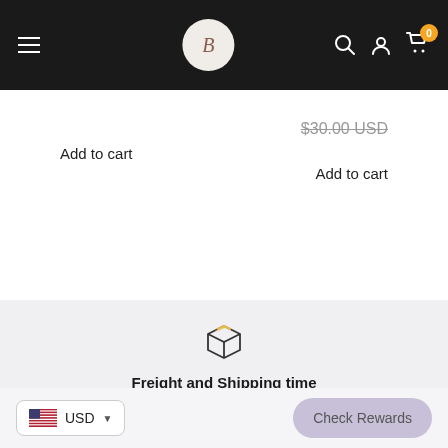Navigation bar with hamburger menu, B logo, search, account, and cart icons
$30.00 USD (strikethrough)
Add to cart
Add to cart
[Figure (illustration): Package/box icon outline with gold accent lines on top, representing shipping]
Freight and Shipping time
· Shipping within 24 hours upon your payment
USD currency selector with US flag
Check Rewards